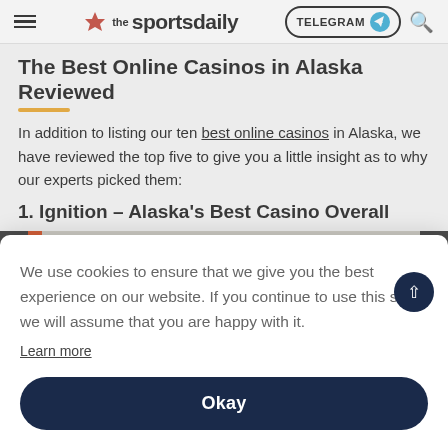the sportsdaily — TELEGRAM — search
The Best Online Casinos in Alaska Reviewed
In addition to listing our ten best online casinos in Alaska, we have reviewed the top five to give you a little insight as to why our experts picked them:
1. Ignition – Alaska's Best Casino Overall
[Figure (screenshot): Partial screenshot of casino website image strip]
We use cookies to ensure that we give you the best experience on our website. If you continue to use this site we will assume that you are happy with it.
Learn more
Okay